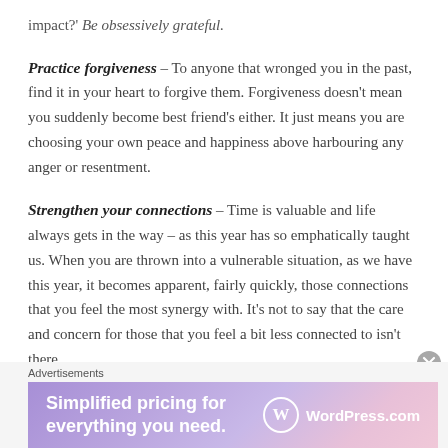impact?' Be obsessively grateful.
Practice forgiveness – To anyone that wronged you in the past, find it in your heart to forgive them. Forgiveness doesn't mean you suddenly become best friend's either. It just means you are choosing your own peace and happiness above harbouring any anger or resentment.
Strengthen your connections – Time is valuable and life always gets in the way – as this year has so emphatically taught us. When you are thrown into a vulnerable situation, as we have this year, it becomes apparent, fairly quickly, those connections that you feel the most synergy with. It's not to say that the care and concern for those that you feel a bit less connected to isn't there
[Figure (screenshot): WordPress.com advertisement banner: 'Simplified pricing for everything you need.' with WordPress.com logo on a purple-pink gradient background.]